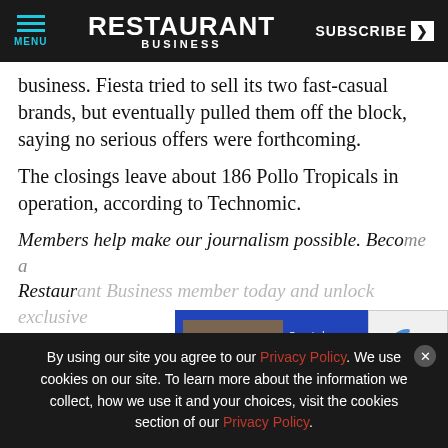RESTAURANT BUSINESS — MENU | SUBSCRIBE
business. Fiesta tried to sell its two fast-casual brands, but eventually pulled them off the block, saying no serious offers were forthcoming.
The closings leave about 186 Pollo Tropicals in operation, according to Technomic.
Members help make our journalism possible. Become a Restaurant Business member today and unlock exclusive benefits...
[Figure (screenshot): Advertisement overlay: Smart phones pay at your table. No card handling. Card read rate. Contact: merchants@ctcheckout.com https://ctcheckout.com]
By using our site you agree to our Privacy Policy. We use cookies on our site. To learn more about the information we collect, how we use it and your choices, visit the cookies section of our Privacy Policy.